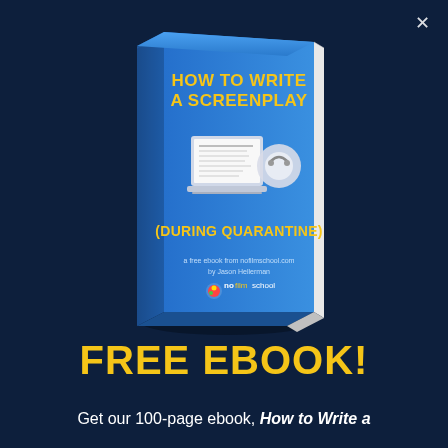[Figure (illustration): 3D rendered book cover titled 'HOW TO WRITE A SCREENPLAY (DURING QUARANTINE)' with a laptop illustration on the cover, subtitle 'a free ebook from nofilmschool.com by Jason Hellerman' and nofilmschool logo. Book is blue with yellow text, shown in perspective 3D view against dark navy background.]
FREE EBOOK!
Get our 100-page ebook, How to Write a